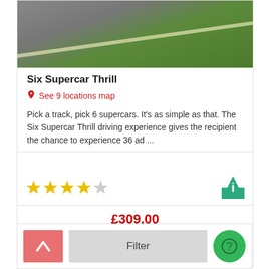[Figure (photo): Aerial or close-up photo of a race track with grey tarmac and green grass]
Six Supercar Thrill
📍 See 9 locations map
Pick a track, pick 6 supercars. It's as simple as that. The Six Supercar Thrill driving experience gives the recipient the chance to experience 36 ad ...
[Figure (infographic): 4 out of 5 stars rating and an info button]
£309.00
View
Filter | back arrow | help button